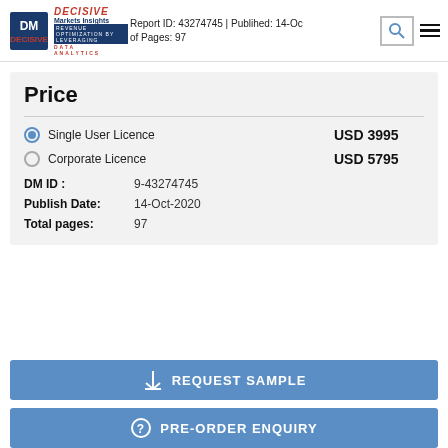Report ID: 43274745 | Publihed: 14-Oct-2020 of Pages: 97
Price
Single User Licence   USD 3995
Corporate Licence   USD 5795
DM ID :   9-43274745
Publish Date:   14-Oct-2020
Total pages:   97
REQUEST SAMPLE
PRE-ORDER ENQUIRY